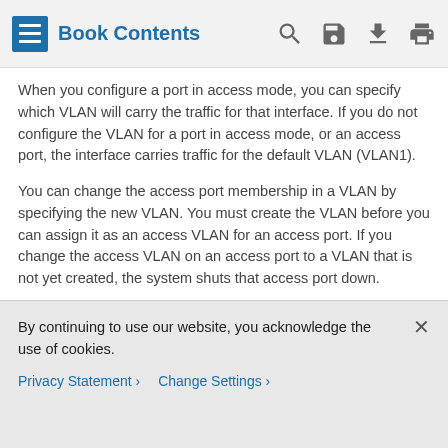Book Contents
When you configure a port in access mode, you can specify which VLAN will carry the traffic for that interface. If you do not configure the VLAN for a port in access mode, or an access port, the interface carries traffic for the default VLAN (VLAN1).
You can change the access port membership in a VLAN by specifying the new VLAN. You must create the VLAN before you can assign it as an access VLAN for an access port. If you change the access VLAN on an access port to a VLAN that is not yet created, the system shuts that access port down.
If an access port receives a packet with an 802.1Q tag in the header other than the access VLAN value, that port drops the packet without learning its MAC source address.
Native VLAN IDs for Trunk Ports
By continuing to use our website, you acknowledge the use of cookies.
Privacy Statement > Change Settings >